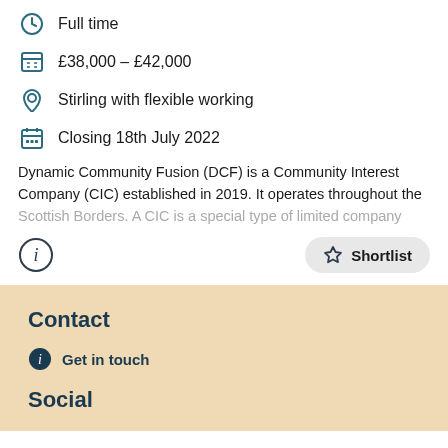Full time
£38,000 – £42,000
Stirling with flexible working
Closing 18th July 2022
Dynamic Community Fusion (DCF) is a Community Interest Company (CIC) established in 2019. It operates throughout the Scottish Borders. A CIC is a special type of limited company
Contact
Get in touch
Social